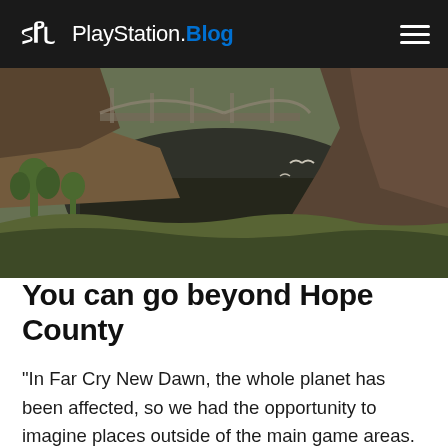PlayStation.Blog
[Figure (photo): Game screenshot from Far Cry New Dawn showing a river gorge with rocky cliffs, cacti and desert vegetation in the foreground, an old bridge structure in the background, and birds flying over dark water.]
You can go beyond Hope County
“In Far Cry New Dawn, the whole planet has been affected, so we had the opportunity to imagine places outside of the main game areas. This inspired us to create a challenging new mode with co-op as the focus that could happen outside of the central play area.